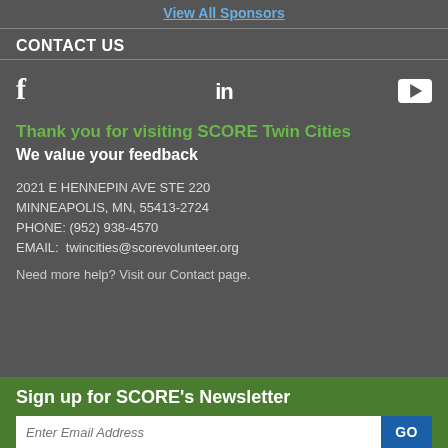View All Sponsors
CONTACT US
[Figure (other): Social media icons: Facebook (f), LinkedIn (in), YouTube (play button)]
Thank you for visiting SCORE Twin Cities
We value your feedback
2021 E HENNEPIN AVE STE 220
MINNEAPOLIS, MN, 55413-2724
PHONE: (952) 938-4570
EMAIL:  twincities@scorevolunteer.org
Need more help? Visit our Contact page.
Sign up for SCORE's Newsletter
Enter Email Address